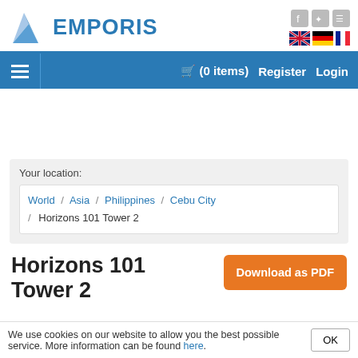[Figure (logo): Emporis logo with blue triangle/arrow shape and EMPORIS text in blue]
[Figure (infographic): Social media icons (Facebook, Twitter, RSS) and language flags (UK, Germany, France)]
🛒 (0 items)   Register   Login
Your location:
World / Asia / Philippines / Cebu City / Horizons 101 Tower 2
Horizons 101 Tower 2
Download as PDF
We use cookies on our website to allow you the best possible service. More information can be found here.